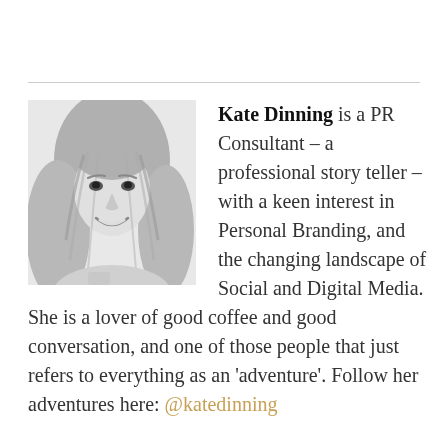[Figure (photo): Black and white portrait photo of a woman with long curly hair, smiling]
Kate Dinning is a PR Consultant – a professional story teller – with a keen interest in Personal Branding, and the changing landscape of Social and Digital Media. She is a lover of good coffee and good conversation, and one of those people that just refers to everything as an 'adventure'. Follow her adventures here: @katedinning